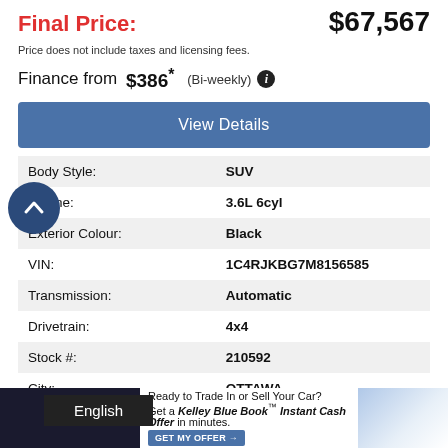Final Price: $67,567
Price does not include taxes and licensing fees.
Finance from $386* (Bi-weekly)
View Details
| Field | Value |
| --- | --- |
| Body Style: | SUV |
| Engine: | 3.6L 6cyl |
| Exterior Colour: | Black |
| VIN: | 1C4RJKBG7M8156585 |
| Transmission: | Automatic |
| Drivetrain: | 4x4 |
| Stock #: | 210592 |
| City: | OTTAWA |
Southbank Dodge   613-706-4391
Ready to Trade In or Sell Your Car? Get a Kelley Blue Book Instant Cash Offer in minutes.
English